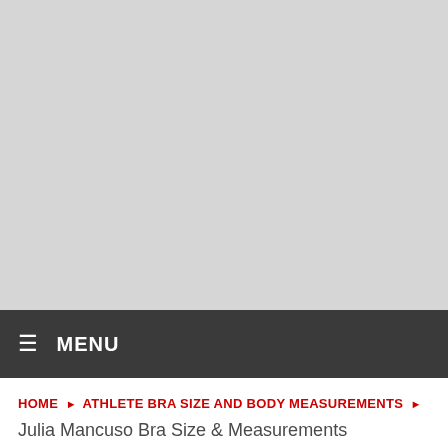[Figure (photo): Large gray placeholder image area at the top of the page]
≡  MENU
HOME ▶ ATHLETE BRA SIZE AND BODY MEASUREMENTS ▶
Julia Mancuso Bra Size & Measurements